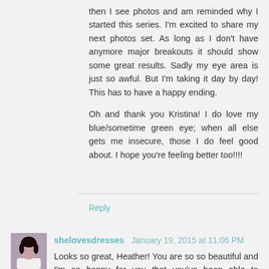then I see photos and am reminded why I started this series. I'm excited to share my next photos set. As long as I don't have anymore major breakouts it should show some great results. Sadly my eye area is just so awful. But I'm taking it day by day! This has to have a happy ending.

Oh and thank you Kristina! I do love my blue/sometime green eye; when all else gets me insecure, those I do feel good about. I hope you're feeling better too!!!!
Reply
shelovesdresses January 19, 2015 at 11:06 PM
Looks so great, Heather! You are so so beautiful and I'm so happy for you that you've been able to continue in this journey towards better skin. Being able to see improvement through photos is so encouraging. <3 <3 <3 <3
Reply